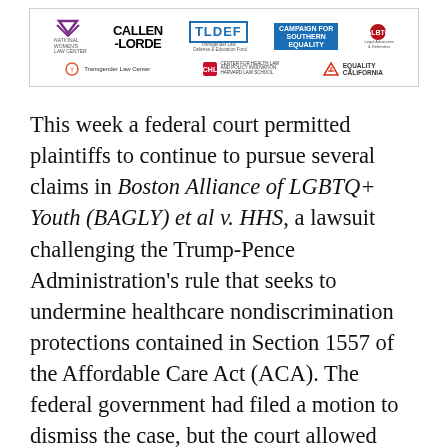[Figure (logo): Banner of organization logos including National Women's Law Center, Transgender Law Center, Callen-Lorde, TLDEF, Southern Equality, GLBTQ Legal Advocates & Defenders, Center for Health Law and Policy Innovation, Equality California]
This week a federal court permitted plaintiffs to continue to pursue several claims in Boston Alliance of LGBTQ+ Youth (BAGLY) et al v. HHS, a lawsuit challenging the Trump-Pence Administration's rule that seeks to undermine healthcare nondiscrimination protections contained in Section 1557 of the Affordable Care Act (ACA). The federal government had filed a motion to dismiss the case, but the court allowed many of the claims to proceed, while postponing consideration of others that are part of other court cases challenging the rule, and dismissing only some limited parts